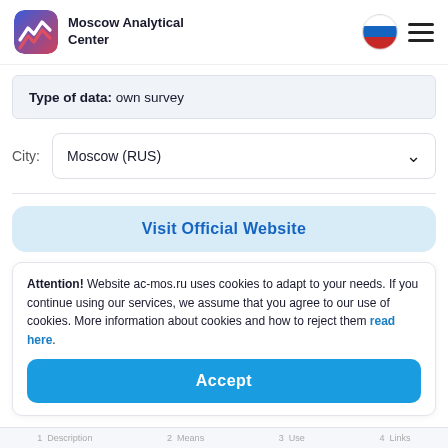Moscow Analytical Center
Type of data: own survey
City: Moscow (RUS)
Visit Official Website
Attention! Website ac-mos.ru uses cookies to adapt to your needs. If you continue using our services, we assume that you agree to our use of cookies. More information about cookies and how to reject them read here.
Accept